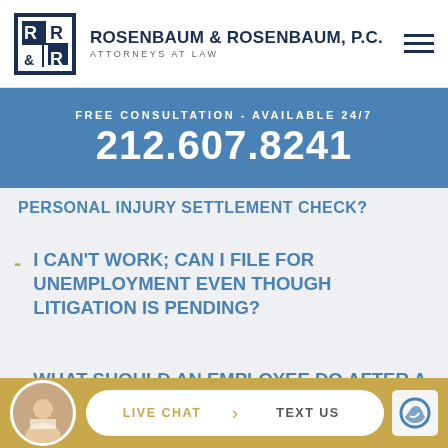[Figure (logo): Rosenbaum & Rosenbaum P.C. law firm logo with R&R initials in a square box]
ROSENBAUM & ROSENBAUM, P.C. ATTORNEYS AT LAW
FREE CONSULTATION - AVAILABLE 24/7
212.607.8241
PERSONAL INJURY SETTLEMENT CHECK?
I CAN'T WORK; CAN I FILE FOR UNEMPLOYMENT EVEN THOUGH LITIGATION IS PENDING?
WHAT SHOULD AN EMPLOYEE DO AFTER A WORKPLACE ACCIDENT?
LIVE CHAT | TEXT US